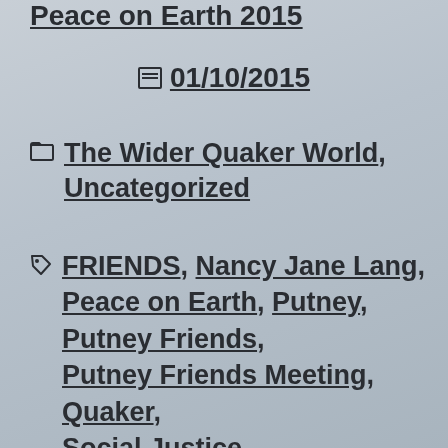Peace on Earth 2015
01/10/2015
The Wider Quaker World, Uncategorized
FRIENDS, Nancy Jane Lang, Peace on Earth, Putney, Putney Friends, Putney Friends Meeting, Quaker, Social Justice